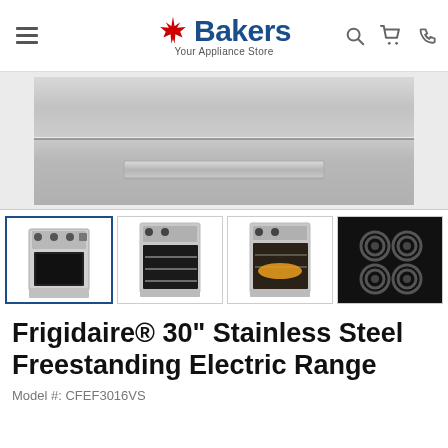[Figure (logo): Bakers Your Appliance Store logo with Canadian maple leaf icon]
[Figure (photo): Close-up product photo showing the bottom drawer/storage compartment of a stainless steel Frigidaire electric range]
[Figure (photo): Thumbnail gallery row: 4 product photos of the Frigidaire 30 inch Stainless Steel Freestanding Electric Range showing front view, open oven view, open oven with food, and top coils view]
Frigidaire® 30" Stainless Steel Freestanding Electric Range
Model #: CFEF3016VS